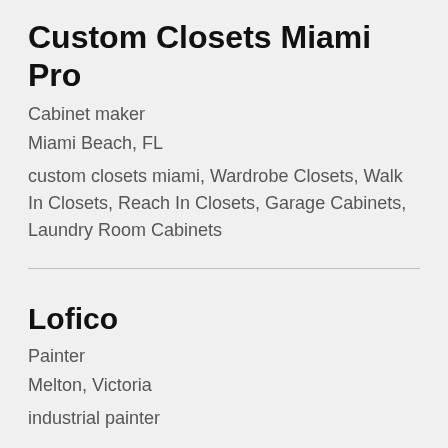Custom Closets Miami Pro
Cabinet maker
Miami Beach, FL
custom closets miami, Wardrobe Closets, Walk In Closets, Reach In Closets, Garage Cabinets, Laundry Room Cabinets
Lofico
Painter
Melton, Victoria
industrial painter
Houston Pool Deck